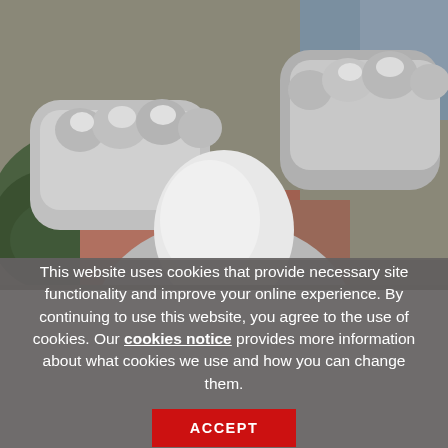[Figure (photo): Close-up photograph of a metallic/silver statue showing hands gripping or clasping, with blurred background of green foliage and reddish brick or stone surfaces]
This website uses cookies that provide necessary site functionality and improve your online experience. By continuing to use this website, you agree to the use of cookies. Our cookies notice provides more information about what cookies we use and how you can change them.
ACCEPT